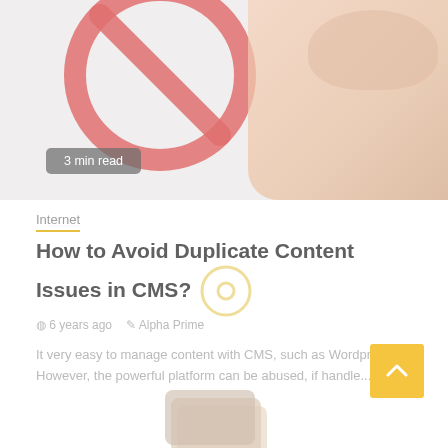[Figure (photo): Hero image showing a red 'no' prohibition symbol overlapping a hand, on a light background. A '3 min read' badge overlays the bottom-left of the image.]
3 min read
Internet
How to Avoid Duplicate Content Issues in CMS?
6 years ago   Alpha Prime
It very easy to manage content with CMS, such as Wordpress. However, the powerful platform can be abused, if handle...
[Figure (photo): Partially visible image of stacked papers or cards at the bottom of the page.]